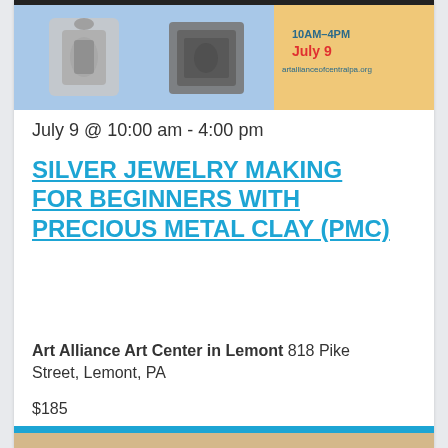[Figure (photo): Event promotional image showing silver jewelry pendants on blue and tan background with text '10AM-4PM July 9 artallianceofcentralpa.org']
July 9 @ 10:00 am - 4:00 pm
SILVER JEWELRY MAKING FOR BEGINNERS WITH PRECIOUS METAL CLAY (PMC)
Art Alliance Art Center in Lemont 818 Pike Street, Lemont, PA
$185
[Figure (photo): Partial bottom image showing another event thumbnail]